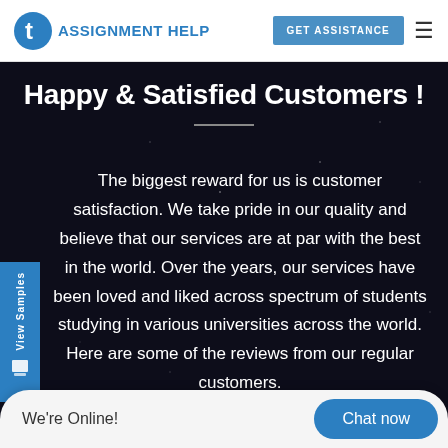TAssignmentHelp — GET ASSISTANCE
Happy & Satisfied Customers !
The biggest reward for us is customer satisfaction. We take pride in our quality and believe that our services are at par with the best in the world. Over the years, our services have been loved and liked across spectrum of students studying in various universities across the world. Here are some of the reviews from our regular customers.
We're Online!  Chat now